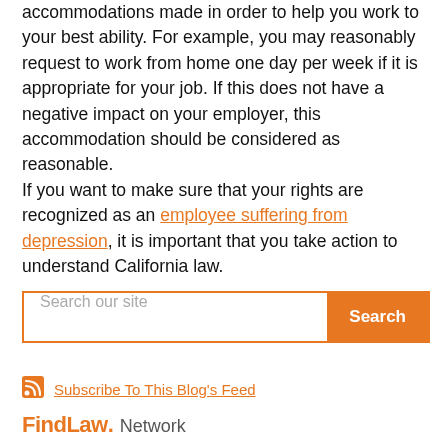accommodations made in order to help you work to your best ability. For example, you may reasonably request to work from home one day per week if it is appropriate for your job. If this does not have a negative impact on your employer, this accommodation should be considered as reasonable.
If you want to make sure that your rights are recognized as an employee suffering from depression, it is important that you take action to understand California law.
Search our site [search box with Search button]
Subscribe To This Blog's Feed
FindLaw. Network